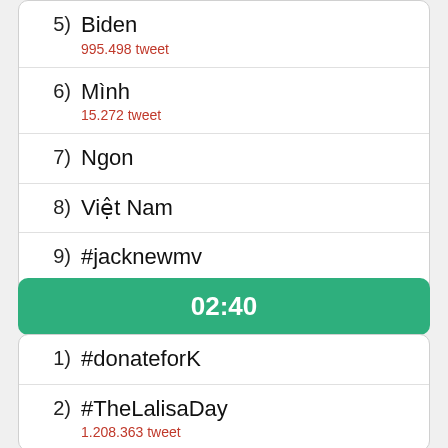5) Biden
995.498 tweet
6) Mình
15.272 tweet
7) Ngon
8) Việt Nam
9) #jacknewmv
10) XSMB
02:40
1) #donateforK
2) #TheLalisaDay
1.208.363 tweet